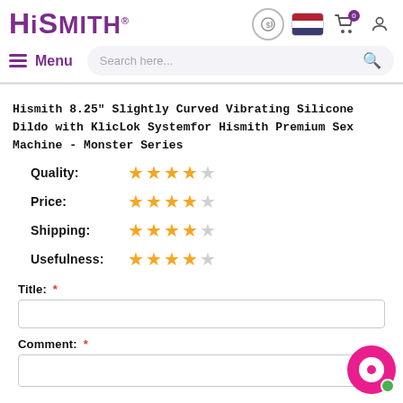Hismith — website header with logo, menu, search bar, and icons
Hismith 8.25" Slightly Curved Vibrating Silicone Dildo with KlicLok Systemfor Hismith Premium Sex Machine - Monster Series
Quality: ★★★★☆
Price: ★★★★☆
Shipping: ★★★★☆
Usefulness: ★★★★☆
Title: *
Comment: *